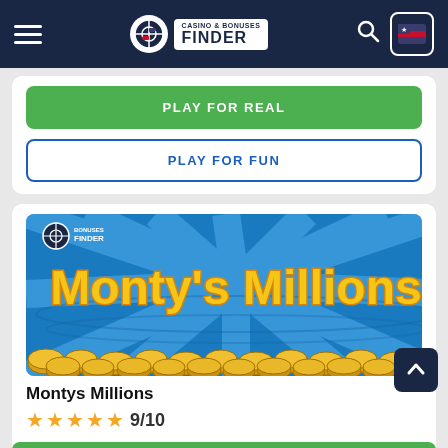Casino & Bonuses Finder
PLAY FOR REAL
PLAY FOR FUN
[Figure (illustration): Monty's Millions casino slot game banner with yellow bubble text on blue sunburst background with gold coins at bottom and Bonuses Finder watermark logo]
Montys Millions
9/10
PLAY FOR REAL